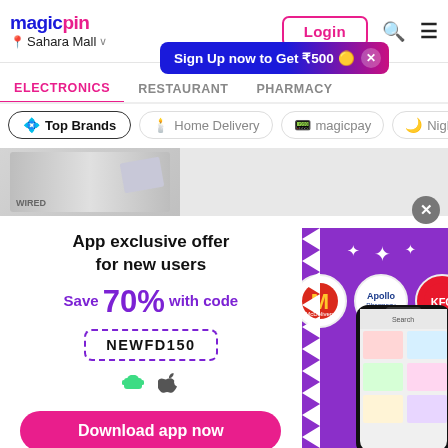magicpin — Sahara Mall — Login
Sign Up now to Get ₹500 ×
ELECTRONICS | RESTAURANT | PHARMACY
Top Brands | Home Delivery | magicpay | Night L...
[Figure (screenshot): Partial product/banner image strip]
[Figure (infographic): App exclusive offer promo card. Left: white background with text 'App exclusive offer for new users', 'Save 70% with code', code 'NEWFD150', Android and Apple store icons, pink 'Download app now' button. Right: purple background with stars, brand circles (McDelivery, Apollo, KFC), and phone mockup showing app.]